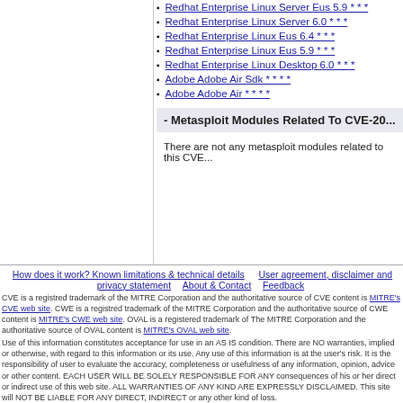Redhat Enterprise Linux Server Eus 5.9 * * *
Redhat Enterprise Linux Server 6.0 * * *
Redhat Enterprise Linux Eus 6.4 * * *
Redhat Enterprise Linux Eus 5.9 * * *
Redhat Enterprise Linux Desktop 6.0 * * *
Adobe Adobe Air Sdk * * * *
Adobe Adobe Air * * * *
- Metasploit Modules Related To CVE-20...
There are not any metasploit modules related to this CVE...
How does it work? Known limitations & technical details | User agreement, disclaimer and privacy statement | About & Contact | Feedback
CVE is a registred trademark of the MITRE Corporation and the authoritative source of CVE content is MITRE's CVE web site. CWE is a registred trademark of the MITRE Corporation and the authoritative source of CWE content is MITRE's CWE web site. OVAL is a registered trademark of The MITRE Corporation and the authoritative source of OVAL content is MITRE's OVAL web site.
Use of this information constitutes acceptance for use in an AS IS condition. There are NO warranties, implied or otherwise, with regard to this information or its use. Any use of this information is at the user's risk. It is the responsibility of user to evaluate the accuracy, completeness or usefulness of any information, opinion, advice or other content. EACH USER WILL BE SOLELY RESPONSIBLE FOR ANY consequences of his or her direct or indirect use of this web site. ALL WARRANTIES OF ANY KIND ARE EXPRESSLY DISCLAIMED. This site will NOT BE LIABLE FOR ANY DIRECT, INDIRECT or any other kind of loss.